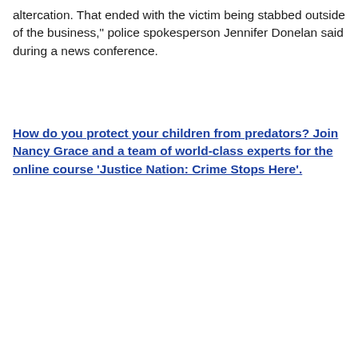altercation. That ended with the victim being stabbed outside of the business," police spokesperson Jennifer Donelan said during a news conference.
How do you protect your children from predators? Join Nancy Grace and a team of world-class experts for the online course ‘Justice Nation: Crime Stops Here’.